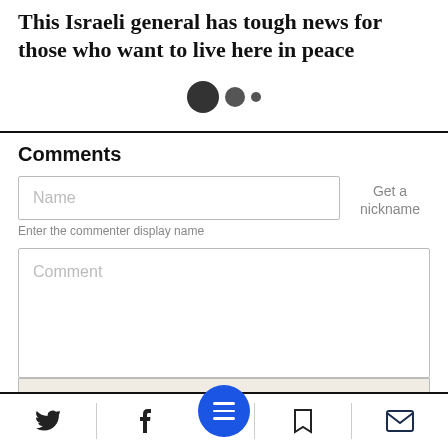This Israeli general has tough news for those who want to live here in peace
[Figure (other): Three loading dots of decreasing size, indicating content is loading]
Comments
Name
Get a nickname
Enter the commenter display name
Comment
[Figure (other): Bottom navigation bar with Twitter, Facebook, menu (blue circle with hamburger icon), bookmark, and email icons]